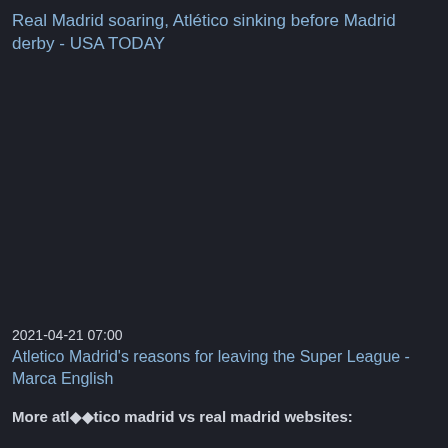Real Madrid soaring, Atlético sinking before Madrid derby - USA TODAY
2021-04-21 07:00
Atletico Madrid's reasons for leaving the Super League - Marca English
More atlético madrid vs real madrid websites: